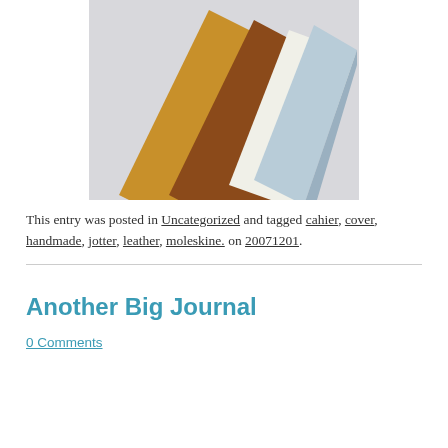[Figure (photo): Photo of leather journal covers fanned out — tan, brown, and white/blue book covers arranged diagonally on a light grey surface.]
This entry was posted in Uncategorized and tagged cahier, cover, handmade, jotter, leather, moleskine. on 20071201.
Another Big Journal
0 Comments